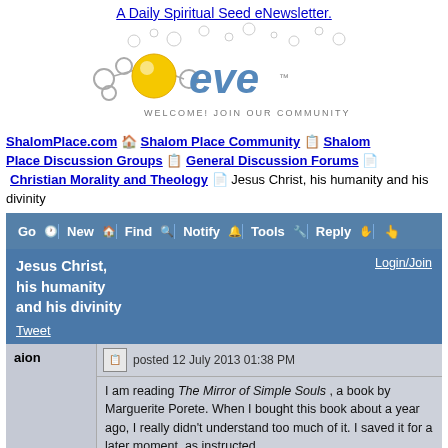A Daily Spiritual Seed eNewsletter.
[Figure (logo): eve eNewsletter logo with molecular/bubble design and tagline WELCOME! JOIN OUR COMMUNITY]
ShalomPlace.com > Shalom Place Community > Shalom Place Discussion Groups > General Discussion Forums > Christian Morality and Theology > Jesus Christ, his humanity and his divinity
Jesus Christ, his humanity and his divinity
Login/Join
Tweet
aion
posted 12 July 2013 01:38 PM
I am reading The Mirror of Simple Souls , a book by Marguerite Porete. When I bought this book about a year ago, I really didn't understand too much of it. I saved it for a later moment, as instructed.

This moment has come and as I recognize myself in many of the things she writes, I am becoming more